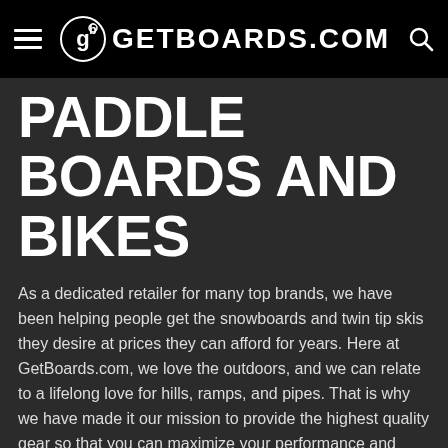GETBOARDS.COM
PADDLE BOARDS AND BIKES
As a dedicated retailer for many top brands, we have been helping people get the snowboards and twin tip skis they desire at prices they can afford for years. Here at GetBoards.com, we love the outdoors, and we can relate to a lifelong love for hills, ramps, and pipes. That is why we have made it our mission to provide the highest quality gear so that you can maximize your performance and have the most fun possible doing the activities you enjoy. Whether you are a beginner looking for a great start, or an expert looking to maximize your game, we have everything you need.